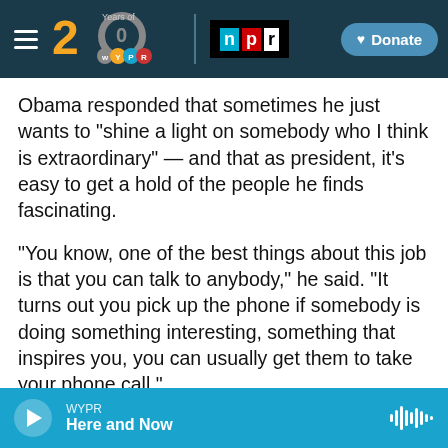[Figure (screenshot): WYPR 20 Years logo with NPR logo and Donate button on dark teal navigation bar]
Obama responded that sometimes he just wants to "shine a light on somebody who I think is extraordinary" — and that as president, it's easy to get a hold of the people he finds fascinating.
"You know, one of the best things about this job is that you can talk to anybody," he said. "It turns out you pick up the phone if somebody is doing something interesting, something that inspires you, you can usually get them to take your phone call."
NPR's Steve Inskeep then asked the president about a hypothetical interview: What would Obama
[Figure (screenshot): Audio player bar showing WYPR Here and Now with play button and waveform icon on blue background]